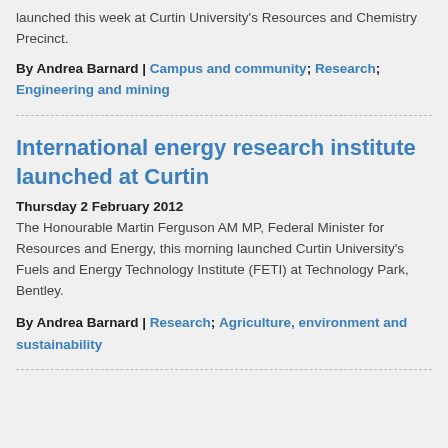launched this week at Curtin University's Resources and Chemistry Precinct.
By Andrea Barnard | Campus and community; Research; Engineering and mining
International energy research institute launched at Curtin
Thursday 2 February 2012
The Honourable Martin Ferguson AM MP, Federal Minister for Resources and Energy, this morning launched Curtin University's Fuels and Energy Technology Institute (FETI) at Technology Park, Bentley.
By Andrea Barnard | Research; Agriculture, environment and sustainability